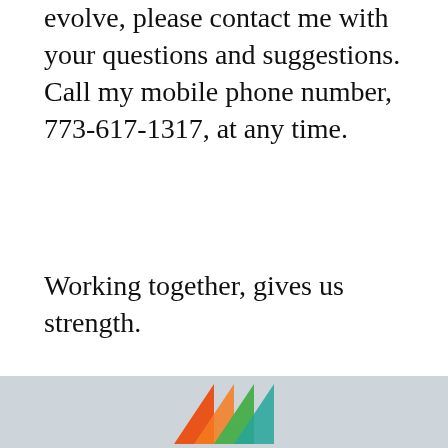evolve, please contact me with your questions and suggestions. Call my mobile phone number, 773-617-1317, at any time.
Working together, gives us strength.
Click here to download
[Figure (logo): Colorful triangular logo mark at the bottom footer area]